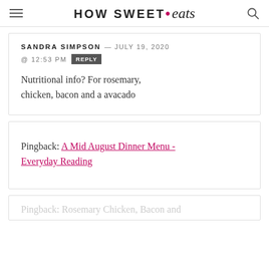HOW SWEET • eats
SANDRA SIMPSON — JULY 19, 2020 @ 12:53 PM REPLY
Nutritional info? For rosemary, chicken, bacon and a avacado
Pingback: A Mid August Dinner Menu - Everyday Reading
Pingback: Rosemary Chicken, Bacon and...